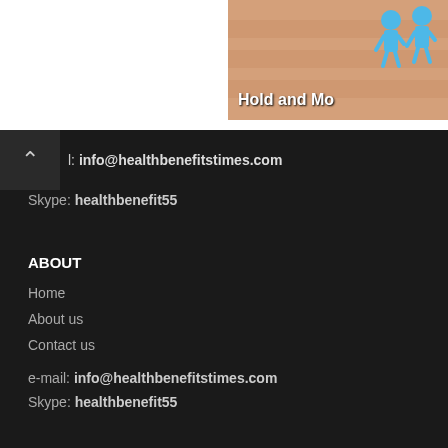[Figure (illustration): Partial view of a banner image showing cartoon blue human figures and text 'Hold and Mo...' on a sandy/skin-toned background, cropped at the right edge]
l: info@healthbenefitstimes.com
Skype: healthbenefit55
ABOUT
Home
About us
Contact us
e-mail: info@healthbenefitstimes.com
Skype: healthbenefit55